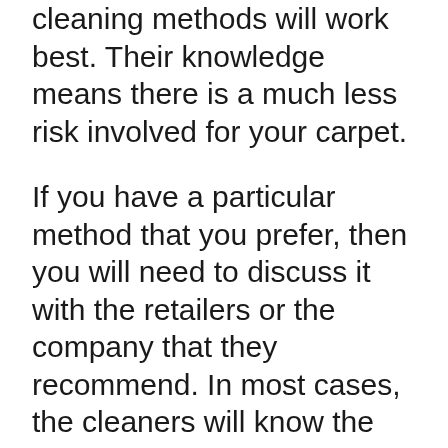cleaning methods will work best. Their knowledge means there is a much less risk involved for your carpet.
If you have a particular method that you prefer, then you will need to discuss it with the retailers or the company that they recommend. In most cases, the cleaners will know the best method, but you can still make your own preferences known. Your decision may also be based on your budget as well.
We Are More Than Just A